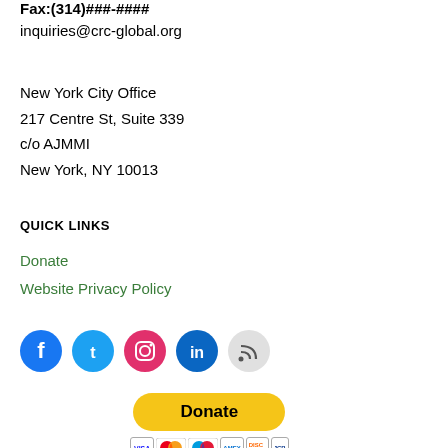Fax:(314)###-####
inquiries@crc-global.org
New York City Office
217 Centre St, Suite 339
c/o AJMMI
New York, NY 10013
QUICK LINKS
Donate
Website Privacy Policy
[Figure (infographic): Social media icons: Facebook (blue circle), Twitter (light blue circle), Instagram (pink/magenta circle), LinkedIn (dark blue circle), RSS feed (light gray circle)]
[Figure (infographic): PayPal Donate button (yellow pill shape) with payment card logos below: Visa, Mastercard, Maestro, American Express, Discover, and one more card]